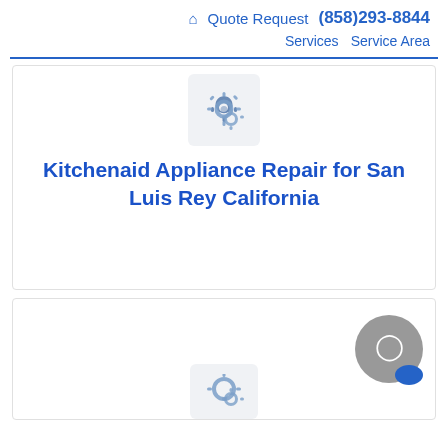🏠 Quote Request (858)293-8844 | Services | Service Area
[Figure (illustration): Gear/settings icon on a light gray rounded square background]
Kitchenaid Appliance Repair for San Luis Rey California
[Figure (illustration): Gear/settings icon on a light gray rounded square background, partially visible at bottom of page. Gray circular chat button with blue tail in bottom right corner.]